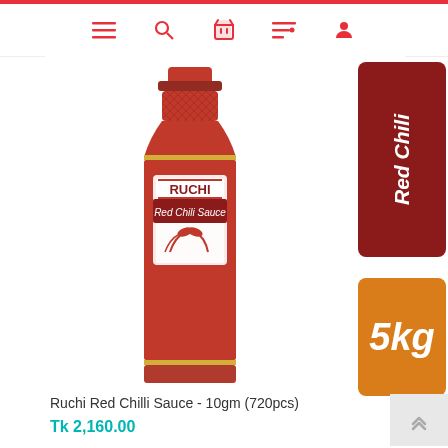[Figure (screenshot): Navigation bar with hamburger menu, search, basket, list, and profile icons in red on white background]
[Figure (photo): Ruchi Red Chili Sauce bottle product photo with red label showing brand name RUCHI and red chili peppers illustration]
[Figure (other): Dark red badge with text 'Red Chili' written vertically]
[Figure (other): Orange badge with text '5kg' in italic white font]
Ruchi Red Chilli Sauce - 10gm (720pcs)
Tk 2,160.00